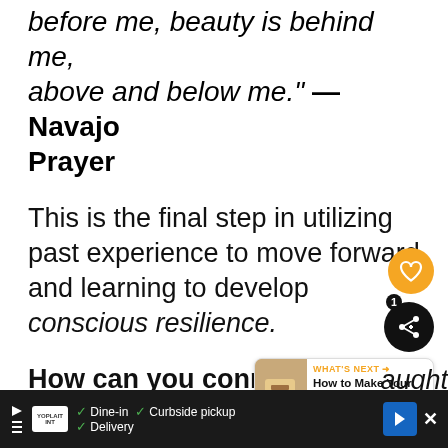before me, beauty is behind me, above and below me." —Navajo Prayer
This is the final step in utilizing past experience to move forward and learning to develop conscious resilience.
How can you connect the dots your life to move forward?
Learn from the past and own